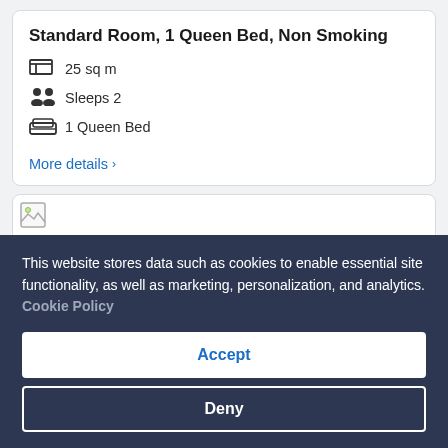Standard Room, 1 Queen Bed, Non Smoking
25 sq m
Sleeps 2
1 Queen Bed
More details >
[Figure (photo): Broken/unloaded image placeholder for hotel room photo]
This website stores data such as cookies to enable essential site functionality, as well as marketing, personalization, and analytics. Cookie Policy
Accept
Deny